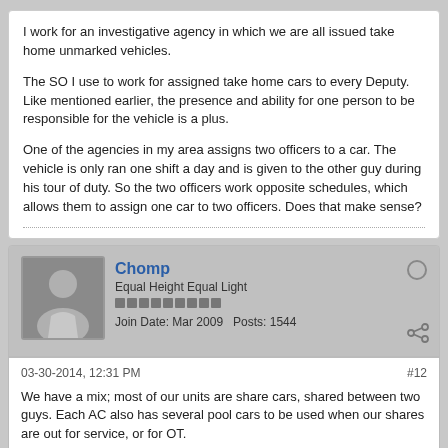I work for an investigative agency in which we are all issued take home unmarked vehicles.
The SO I use to work for assigned take home cars to every Deputy. Like mentioned earlier, the presence and ability for one person to be responsible for the vehicle is a plus.
One of the agencies in my area assigns two officers to a car. The vehicle is only ran one shift a day and is given to the other guy during his tour of duty. So the two officers work opposite schedules, which allows them to assign one car to two officers. Does that make sense?
Chomp
Equal Height Equal Light
Join Date: Mar 2009   Posts: 1544
03-30-2014, 12:31 PM
#12
We have a mix; most of our units are share cars, shared between two guys. Each AC also has several pool cars to be used when our shares are out for service, or for OT.
The share cars are generally kept in pretty good shape. The pool cars get **** on.